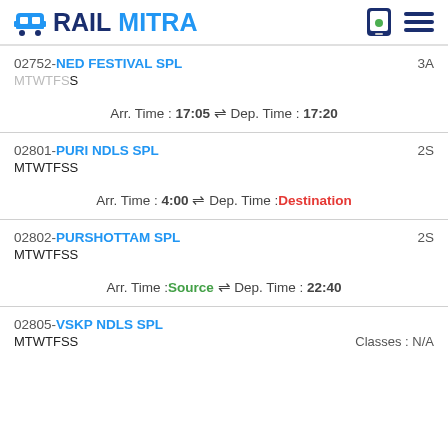RAILMITRA
02752-NED FESTIVAL SPL
MTWTFSS
3A
Arr. Time : 17:05 ⇌ Dep. Time : 17:20
02801-PURI NDLS SPL
MTWTFSS
2S
Arr. Time : 4:00 ⇌ Dep. Time : Destination
02802-PURSHOTTAM SPL
MTWTFSS
2S
Arr. Time : Source ⇌ Dep. Time : 22:40
02805-VSKP NDLS SPL
MTWTFSS
Classes : N/A